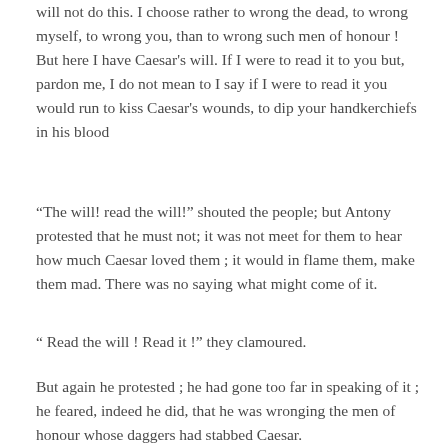will not do this. I choose rather to wrong the dead, to wrong myself, to wrong you, than to wrong such men of honour ! But here I have Caesar's will. If I were to read it to you but, pardon me, I do not mean to I say if I were to read it you would run to kiss Caesar's wounds, to dip your handkerchiefs in his blood
“The will! read the will!” shouted the people; but Antony protested that he must not; it was not meet for them to hear how much Caesar loved them ; it would in flame them, make them mad. There was no saying what might come of it.
“ Read the will ! Read it !” they clamoured.
But again he protested ; he had gone too far in speaking of it ; he feared, indeed he did, that he was wronging the men of honour whose daggers had stabbed Caesar.